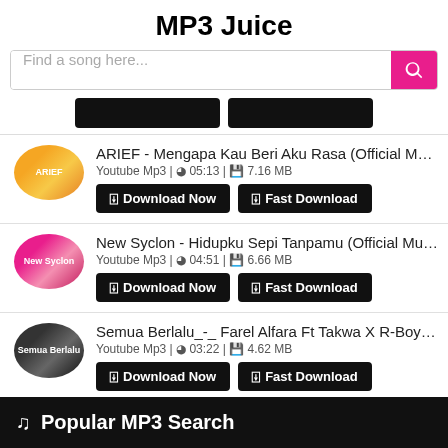MP3 Juice
Find a song here...
ARIEF - Mengapa Kau Beri Aku Rasa (Official Music Vid
Youtube Mp3 | 05:13 | 7.16 MB
New Syclon - Hidupku Sepi Tanpamu (Official Music Vide
Youtube Mp3 | 04:51 | 6.66 MB
Semua Berlalu_-_ Farel Alfara Ft Takwa X R-Boyz X Her
Youtube Mp3 | 03:22 | 4.62 MB
♪ Popular MP3 Search